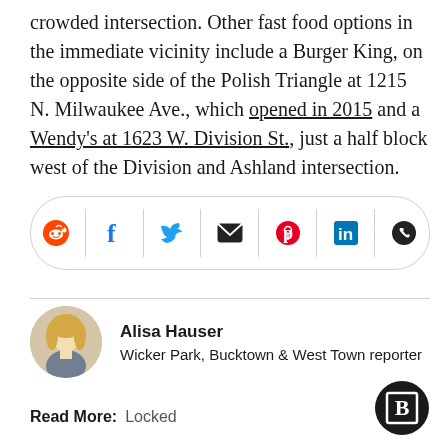crowded intersection. Other fast food options in the immediate vicinity include a Burger King, on the opposite side of the Polish Triangle at 1215 N. Milwaukee Ave., which opened in 2015 and a Wendy's at 1623 W. Division St., just a half block west of the Division and Ashland intersection.
[Figure (infographic): Social media share bar with icons for Reddit, Facebook, Twitter, Email, Pinterest, LinkedIn, and WhatsApp]
[Figure (photo): Circular author photo of Alisa Hauser, a woman with blonde curly hair]
Alisa Hauser
Wicker Park, Bucktown & West Town reporter
Read More:   Locked
[Figure (logo): Circular black Blockclub Chicago logo with white letter B in a square frame]